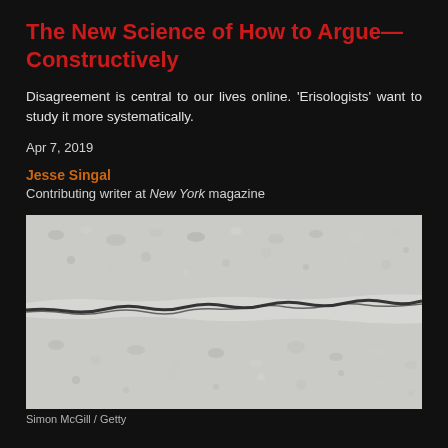The New Science of How to Argue—Constructively
Disagreement is central to our lives online. 'Erisologists' want to study it more systematically.
Apr 7, 2019
Jesse Singal
Contributing writer at New York magazine
[Figure (photo): Close-up photograph of a cracked concrete or stone surface, showing a large horizontal crack running across white/grey textured material]
Simon McGill / Getty